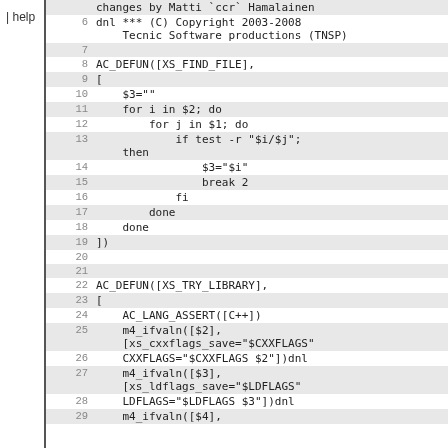help
Code listing lines 6-29 of a shell/m4 script including AC_DEFUN macros for XS_FIND_FILE and XS_TRY_LIBRARY